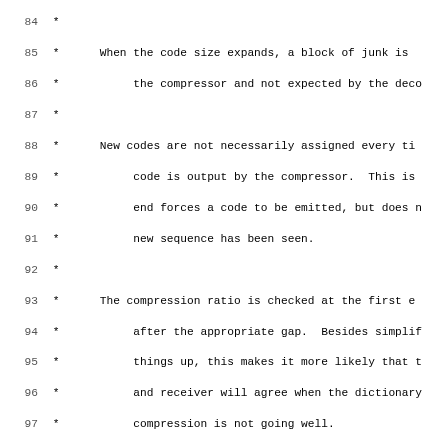Source code listing lines 84-115, showing BSD compress dictionary struct and comments about code size expansion and compression ratio checking.